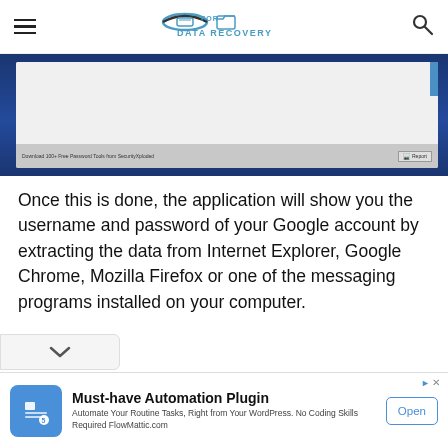FOR DATA RECOVERY
[Figure (screenshot): Screenshot of a Windows application dialog showing 'Download 100+ Free Password Tools from SecurityXploded' with a Report button]
Once this is done, the application will show you the username and password of your Google account by extracting the data from Internet Explorer, Google Chrome, Mozilla Firefox or one of the messaging programs installed on your computer.
[Figure (infographic): Advertisement banner: Must-have Automation Plugin. Automate Your Routine Tasks, Right from Your WordPress. No Coding Skills Required FlowMattic.com. Open button.]